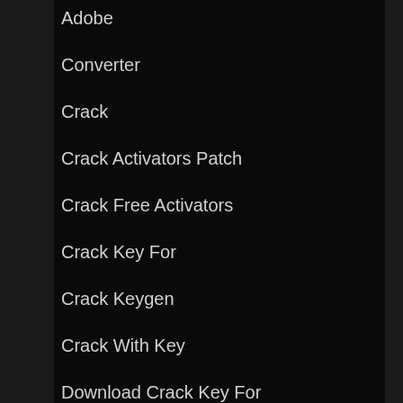Adobe
Converter
Crack
Crack Activators Patch
Crack Free Activators
Crack Key For
Crack Keygen
Crack With Key
Download Crack Key For
Editor